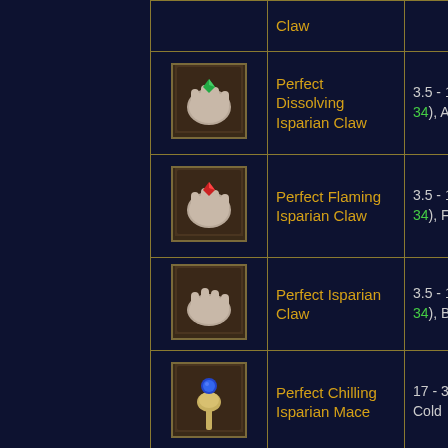| Icon | Item Name | Stats |
| --- | --- | --- |
| [icon] | Claw |  |
| [icon] | Perfect Dissolving Isparian Claw | 3.5 - 14 (2... 34), Acid |
| [icon] | Perfect Flaming Isparian Claw | 3.5 - 14 (2... 34), Fire |
| [icon] | Perfect Isparian Claw | 3.5 - 14 (2... 34), Bludg... |
| [icon] | Perfect Chilling Isparian Mace | 17 - 34 (2... Cold |
| [icon] |  |  |